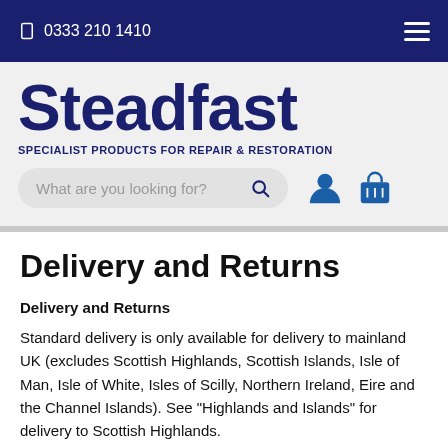0333 210 1410
[Figure (logo): Steadfast logo with tagline SPECIALIST PRODUCTS FOR REPAIR & RESTORATION and search bar with user and cart icons]
Delivery and Returns
Delivery and Returns
Standard delivery is only available for delivery to mainland UK (excludes Scottish Highlands, Scottish Islands, Isle of Man, Isle of White, Isles of Scilly, Northern Ireland, Eire and the Channel Islands). See "Highlands and Islands" for delivery to Scottish Highlands.